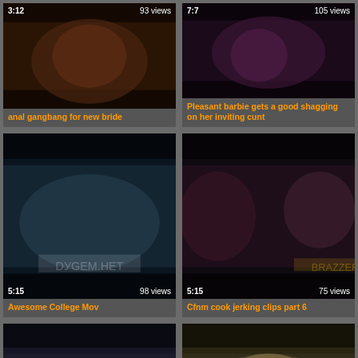[Figure (screenshot): Video thumbnail row 1 left: duration 3:12, 93 views]
anal gangbang for new bride
[Figure (screenshot): Video thumbnail row 1 right: duration 7:7, 105 views]
Pleasant barbie gets a good shagging on her inviting cunt
[Figure (screenshot): Video thumbnail row 2 left: duration 5:15, 98 views]
Awesome College Mov
[Figure (screenshot): Video thumbnail row 2 right: duration 5:15, 75 views]
Cfnm cook jerking clips part 6
[Figure (screenshot): Video thumbnail row 3 left: partial, no overlay visible]
[Figure (screenshot): Video thumbnail row 3 right: partial, no overlay visible]